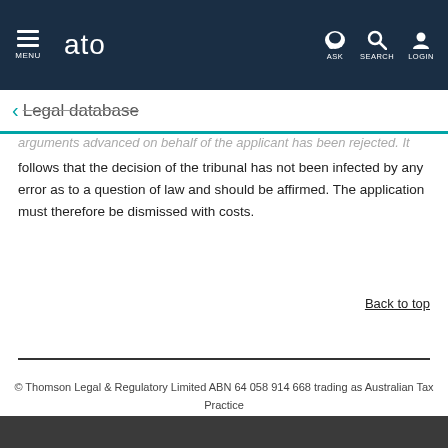MENU | ato | ASK | SEARCH | LOGIN
← Legal database
arguments advanced on behalf of the applicant has been rejected. It follows that the decision of the tribunal has not been infected by any error as to a question of law and should be affirmed. The application must therefore be dismissed with costs.
Back to top
© Thomson Legal & Regulatory Limited ABN 64 058 914 668 trading as Australian Tax Practice